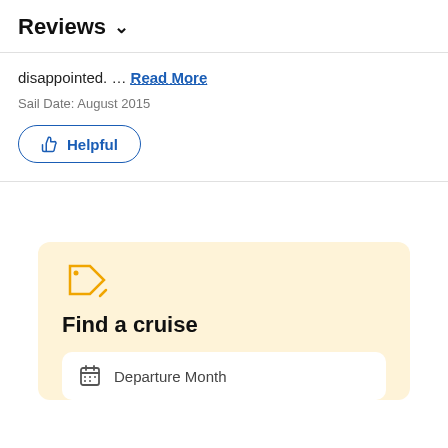Reviews ˅
disappointed. … Read More
Sail Date: August 2015
Helpful
[Figure (infographic): Find a cruise section with price tag icon, 'Find a cruise' heading, and Departure Month input field on a light yellow background]
Find a cruise
Departure Month